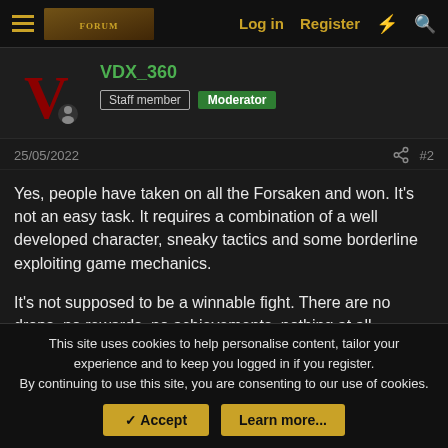VDX_360 forum post header with Log in, Register navigation
VDX_360
Staff member | Moderator
25/05/2022
#2
Yes, people have taken on all the Forsaken and won. It's not an easy task. It requires a combination of a well developed character, sneaky tactics and some borderline exploiting game mechanics.
It's not supposed to be a winnable fight. There are no drops, no rewards, no achievements, nothing at all.
Quote
This site uses cookies to help personalise content, tailor your experience and to keep you logged in if you register. By continuing to use this site, you are consenting to our use of cookies. Accept | Learn more...